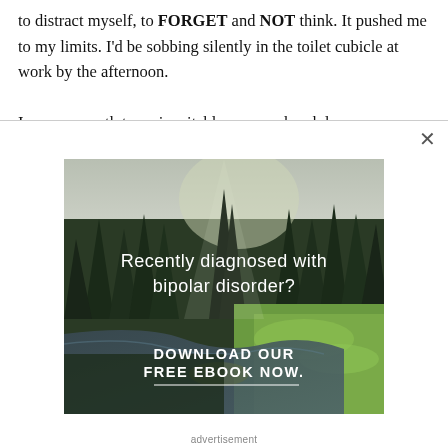to distract myself, to FORGET and NOT think. It pushed me to my limits. I'd be sobbing silently in the toilet cubicle at work by the afternoon.

I was on a path to an inevitable nervous breakdown.
[Figure (photo): Outdoor nature scene showing a forest with tall evergreen trees, a stream/river, and green grass, overlaid with white text reading 'Recently diagnosed with bipolar disorder? DOWNLOAD OUR FREE EBOOK NOW.' with a horizontal underline.]
advertisement